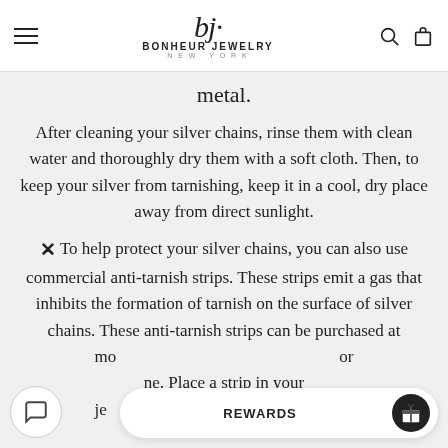bj · BONHEUR JEWELRY NEW YORK
metal.
After cleaning your silver chains, rinse them with clean water and thoroughly dry them with a soft cloth. Then, to keep your silver from tarnishing, keep it in a cool, dry place away from direct sunlight.
✕ To help protect your silver chains, you can also use commercial anti-tarnish strips. These strips emit a gas that inhibits the formation of tarnish on the surface of silver chains. These anti-tarnish strips can be purchased at most stores or online. Place a strip in your jewelry storage